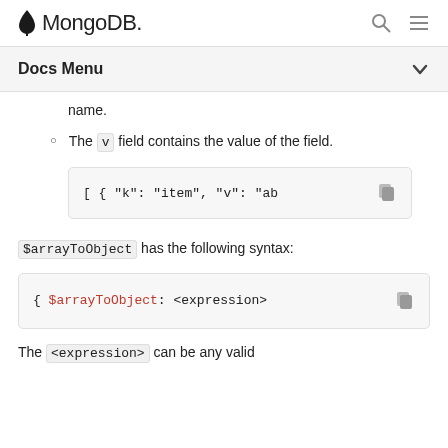MongoDB
Docs Menu
name.
The v field contains the value of the field.
[ { "k": "item", "v": "ab
$arrayToObject has the following syntax:
{ $arrayToObject: <expression>
The <expression> can be any valid